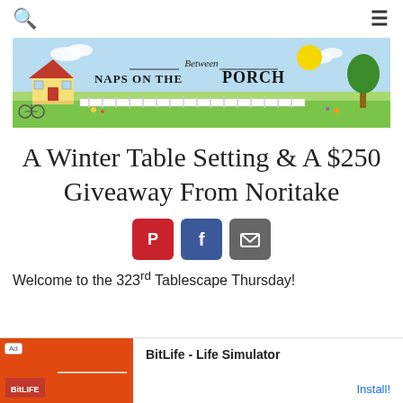Between Naps on the Porch (blog header/banner)
A Winter Table Setting & A $250 Giveaway From Noritake
[Figure (illustration): Three social media share buttons: Pinterest (red), Facebook (blue), Email (grey)]
Welcome to the 323rd Tablescape Thursday!
[Figure (screenshot): Advertisement banner for BitLife - Life Simulator app with orange background and Install! button]